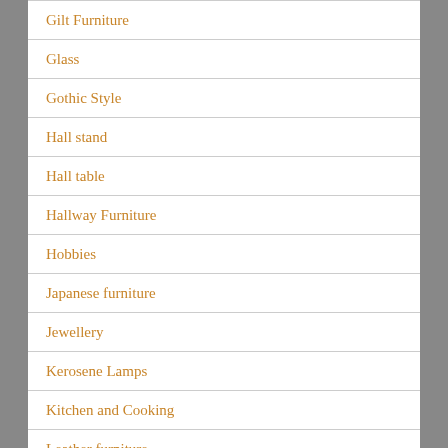Gilt Furniture
Glass
Gothic Style
Hall stand
Hall table
Hallway Furniture
Hobbies
Japanese furniture
Jewellery
Kerosene Lamps
Kitchen and Cooking
Leather furniture
Lighting
Lounge suites